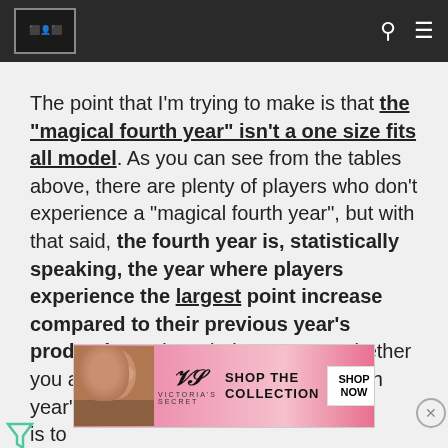[Navigation header with logo, search, and menu icons]
The point that I'm trying to make is that the "magical fourth year" isn't a one size fits all model. As you can see from the tables above, there are plenty of players who don't experience a "magical fourth year", but with that said, the fourth year is, statistically speaking, the year where players experience the largest point increase compared to their previous year's production. It is entirely up to you whether you are a believer of the "magical fourth year" or not. All I can do is to...
[Figure (advertisement): Victoria's Secret advertisement banner with pink background, model photo, VS logo, 'SHOP THE COLLECTION' text, and 'SHOP NOW' button]